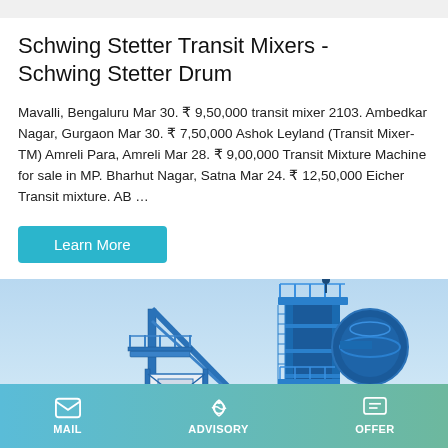Schwing Stetter Transit Mixers - Schwing Stetter Drum
Mavalli, Bengaluru Mar 30. ₹ 9,50,000 transit mixer 2103. Ambedkar Nagar, Gurgaon Mar 30. ₹ 7,50,000 Ashok Leyland (Transit Mixer-TM) Amreli Para, Amreli Mar 28. ₹ 9,00,000 Transit Mixture Machine for sale in MP. Bharhut Nagar, Satna Mar 24. ₹ 12,50,000 Eicher Transit mixture. AB …
Learn More
[Figure (photo): Industrial machinery - Schwing Stetter transit mixer / drum equipment against a blue sky background]
MAIL   ADVISORY   OFFER